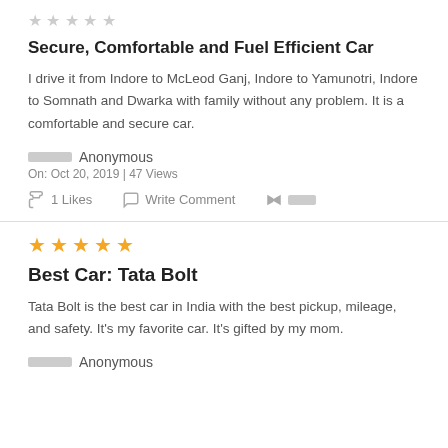[Figure (other): Partial star rating (faded/outline stars) at top of first review]
Secure, Comfortable and Fuel Efficient Car
I drive it from Indore to McLeod Ganj, Indore to Yamunotri, Indore to Somnath and Dwarka with family without any problem. It is a comfortable and secure car.
Anonymous
On: Oct 20, 2019 | 47 Views
1 Likes  Write Comment  Share
[Figure (other): 5 orange filled stars rating for second review]
Best Car: Tata Bolt
Tata Bolt is the best car in India with the best pickup, mileage, and safety. It's my favorite car. It's gifted by my mom.
Anonymous